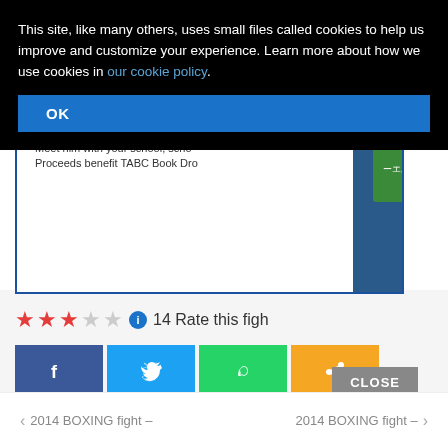This site, like many others, uses small files called cookies to help us improve and customize your experience. Learn more about how we use cookies in our cookie policy.
[Figure (screenshot): Author banner for Christopher Paolini with book images, rating stars (3 out of 5), social share buttons (Facebook, Twitter, WhatsApp, Share), a loading video overlay with close X button, a CLOSE button, and navigation footer with '2014 BOXING fight –' links on both sides.]